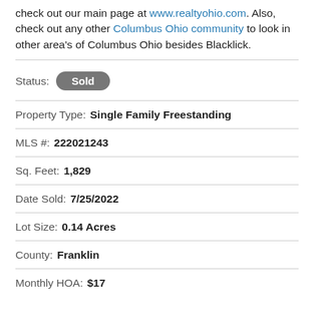check out our main page at www.realtyohio.com. Also, check out any other Columbus Ohio community to look in other area's of Columbus Ohio besides Blacklick.
Status: Sold
Property Type: Single Family Freestanding
MLS #: 222021243
Sq. Feet: 1,829
Date Sold: 7/25/2022
Lot Size: 0.14 Acres
County: Franklin
Monthly HOA: $17